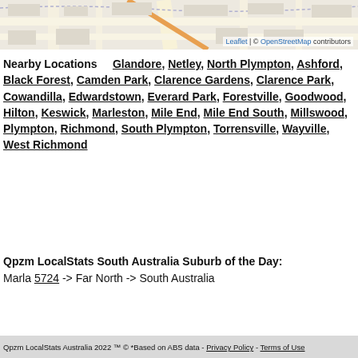[Figure (map): Street map showing local area with roads and suburb outlines. Leaflet | © OpenStreetMap contributors attribution shown.]
Nearby Locations   Glandore, Netley, North Plympton, Ashford, Black Forest, Camden Park, Clarence Gardens, Clarence Park, Cowandilla, Edwardstown, Everard Park, Forestville, Goodwood, Hilton, Keswick, Marleston, Mile End, Mile End South, Millswood, Plympton, Richmond, South Plympton, Torrensville, Wayville, West Richmond
Qpzm LocalStats South Australia Suburb of the Day: Marla 5724 -> Far North -> South Australia
Qpzm LocalStats Australia 2022 ™ © *Based on ABS data - Privacy Policy - Terms of Use